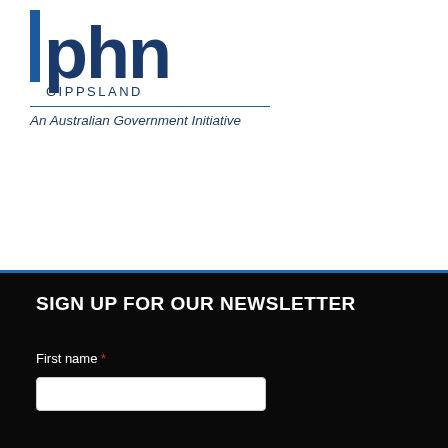[Figure (logo): PHN Gippsland logo — large stylized lowercase 'phn' letters in dark navy blue with a vertical blue bar on the left side, and 'GIPPSLAND' in smaller caps below]
An Australian Government Initiative
SIGN UP FOR OUR NEWSLETTER
First name *